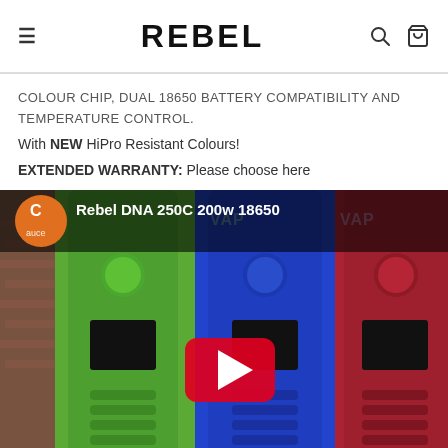REBEL
COLOUR CHIP, DUAL 18650 BATTERY COMPATIBILITY AND TEMPERATURE CONTROL.
With NEW HiPro Resistant Colours!
EXTENDED WARRANTY: Please choose here
[Figure (screenshot): YouTube video thumbnail showing Rebel DNA 250C 200w 18650 vape mods in green, blue, and red colors lined up side by side, with a YouTube play button in the center and a channel logo in the top left corner.]